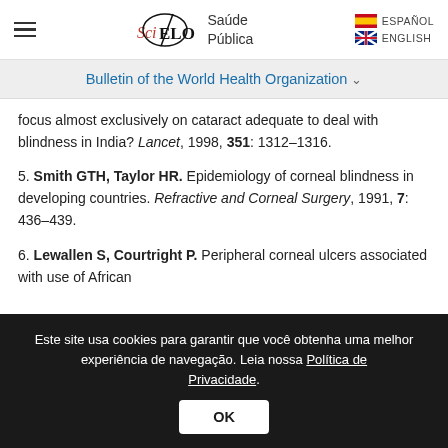SciELO Saúde Pública | ESPAÑOL | ENGLISH
Bulletin of the World Health Organization
focus almost exclusively on cataract adequate to deal with blindness in India? Lancet, 1998, 351: 1312–1316.
5. Smith GTH, Taylor HR. Epidemiology of corneal blindness in developing countries. Refractive and Corneal Surgery, 1991, 7: 436–439.
6. Lewallen S, Courtright P. Peripheral corneal ulcers associated with use of African
Este site usa cookies para garantir que você obtenha uma melhor experiência de navegação. Leia nossa Política de Privacidade.